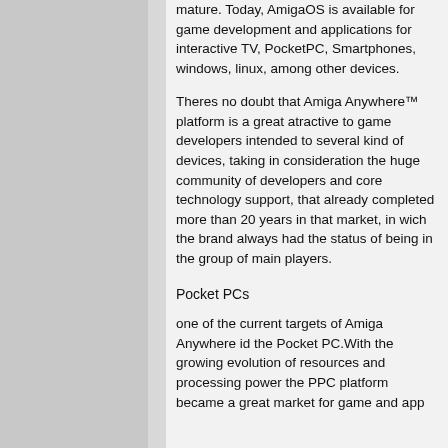mature. Today, AmigaOS is available for game development and applications for interactive TV, PocketPC, Smartphones, windows, linux, among other devices.
Theres no doubt that Amiga Anywhere™ platform is a great atractive to game developers intended to several kind of devices, taking in consideration the huge community of developers and core technology support, that already completed more than 20 years in that market, in wich the brand always had the status of being in the group of main players.
Pocket PCs
one of the current targets of Amiga Anywhere id the Pocket PC.With the growing evolution of resources and processing power the PPC platform became a great market for game and app...